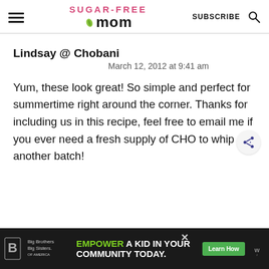Sugar-Free Mom | SUBSCRIBE
Lindsay @ Chobani
March 12, 2012 at 9:41 am
Yum, these look great! So simple and perfect for summertime right around the corner. Thanks for including us in this recipe, feel free to email me if you ever need a fresh supply of CHO to whip up another batch!
[Figure (infographic): Ad banner: Big Brothers Big Sisters logo on left dark background, center text 'EMPOWER A KID IN YOUR COMMUNITY TODAY.' with green Learn How button and close X button, right side shows additional logos on dark background]